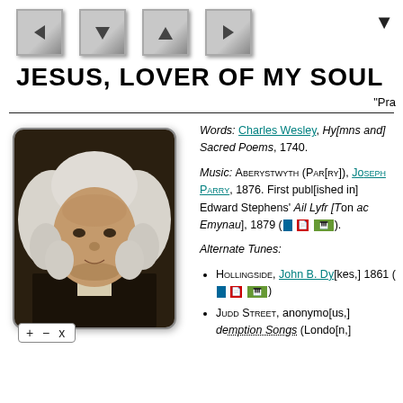[Figure (other): Navigation bar with four stone-textured arrow buttons (left, up-filled, up, right) and a dropdown triangle in top-right corner]
JESUS, LOVER OF MY SOUL
“Pra
[Figure (photo): Portrait painting of a man in 18th century attire with white powdered wig against dark background, shown from shoulders up]
Words: Charles Wesley, Hym[ns and] Sacred Poems, 1740.
Music: Aberystwyth (Parr[y]), Jo[seph Parry], 1876. First publ[ished in] Edward Stephens’ Ail Lyfr [Ton ac] Emynau, 1879 (□ 📄 🎹).
Alternate Tunes:
Hollingside, John B. D[ykes,] 1861 (□ 📄 🎹)
Judd Street, anonymo[us,] demption Songs (Londo[n,] [p. ?, Judit, and more]